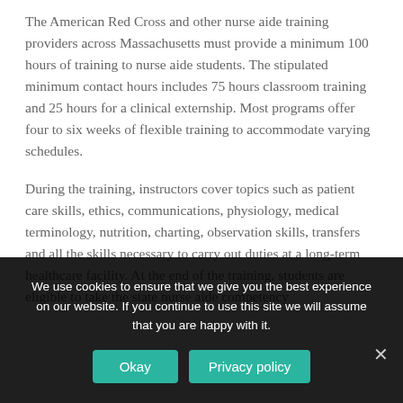The American Red Cross and other nurse aide training providers across Massachusetts must provide a minimum 100 hours of training to nurse aide students. The stipulated minimum contact hours includes 75 hours classroom training and 25 hours for a clinical externship. Most programs offer four to six weeks of flexible training to accommodate varying schedules.
During the training, instructors cover topics such as patient care skills, ethics, communications, physiology, medical terminology, nutrition, charting, observation skills, transfers and all the skills necessary to carry out duties at a long-term healthcare facility. At the end of the training, students are eligible to take the state nurse aide competency
We use cookies to ensure that we give you the best experience on our website. If you continue to use this site we will assume that you are happy with it.